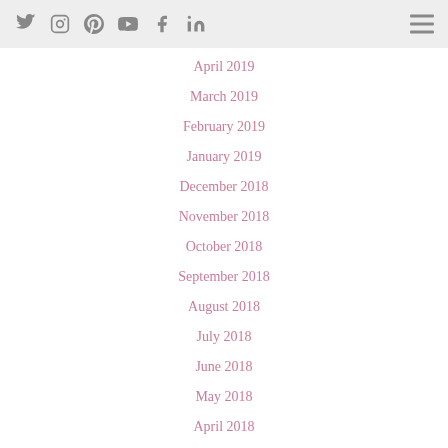[Social icons: Twitter, Instagram, Pinterest, YouTube, Facebook, LinkedIn] [Hamburger menu]
April 2019
March 2019
February 2019
January 2019
December 2018
November 2018
October 2018
September 2018
August 2018
July 2018
June 2018
May 2018
April 2018